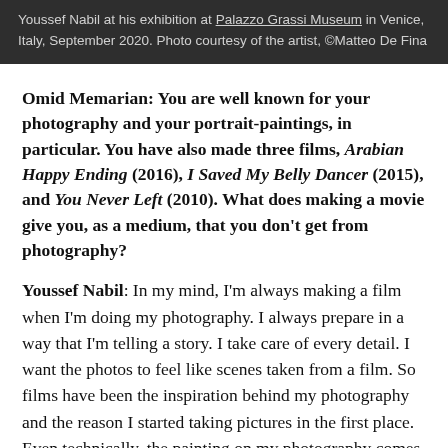Youssef Nabil at his exhibition at Palazzo Grassi Museum in Venice, Italy, September 2020. Photo courtesy of the artist, ©Matteo De Fina
Omid Memarian: You are well known for your photography and your portrait-paintings, in particular. You have also made three films, Arabian Happy Ending (2016), I Saved My Belly Dancer (2015), and You Never Left (2010). What does making a movie give you, as a medium, that you don't get from photography?
Youssef Nabil: In my mind, I'm always making a film when I'm doing my photography. I always prepare in a way that I'm telling a story. I take care of every detail. I want the photos to feel like scenes taken from a film. So films have been the inspiration behind my photography and the reason I started taking pictures in the first place. Even technically, the painting on my photography comes from